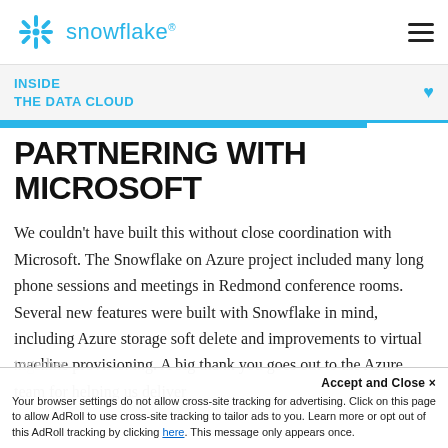[Figure (logo): Snowflake logo with blue snowflake icon and 'snowflake' wordmark in light blue]
INSIDE THE DATA CLOUD
PARTNERING WITH MICROSOFT
We couldn't have built this without close coordination with Microsoft. The Snowflake on Azure project included many long phone sessions and meetings in Redmond conference rooms. Several new features were built with Snowflake in mind, including Azure storage soft delete and improvements to virtual machine provisioning. A big thank you goes out to the Azure team for helping us deliver together
Accept and Close ✕ Your browser settings do not allow cross-site tracking for advertising. Click on this page to allow AdRoll to use cross-site tracking to tailor ads to you. Learn more or opt out of this AdRoll tracking by clicking here. This message only appears once.